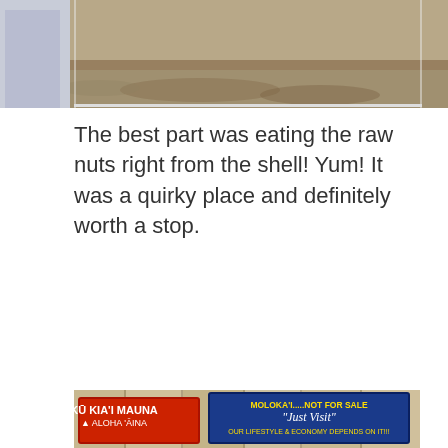[Figure (photo): Top portion of a photo showing a person in a light blue shirt and rocks/gravel in the background, partially cropped at top of page]
The best part was eating the raw nuts right from the shell! Yum! It was a quirky place and definitely worth a stop.
[Figure (photo): Photo of a wooden fence/wall with various stickers and hand-written text. Stickers include: 'KU KIA'I MAUNA / ALOHA 'AINA' (red), 'MOLOKA'I.....NOT FOR SALE / Just Visit / OUR LIFESTYLE & ECONOMY DEPENDS ON IT!!!' (blue/yellow), 'MALAMA MAUNA KEA' (black/white with arrows), handwritten 'MOLOKAI-ALOHA.COM', handwritten 'MAC-NUTS', 'Support Hawai'i Agriculture' (green), 'Island Fresh / Buy Local * It Matters' (white), and 'Don't Change Molokai / [island shape] / Let Molokai Change You' (white/green border sign)]